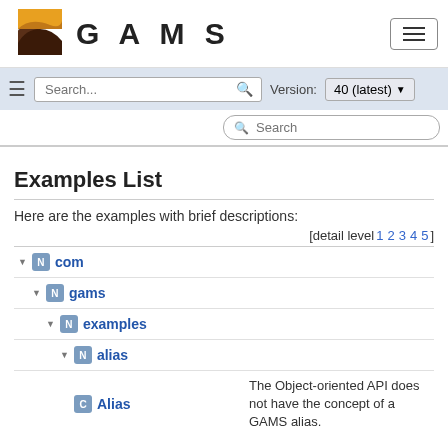[Figure (logo): GAMS logo with orange and brown wave icon and GAMS text]
GAMS - navigation bar with Search, Version: 40 (latest)
Examples List
Here are the examples with brief descriptions:
[detail level 1 2 3 4 5]
▼ N com
▼ N gams
▼ N examples
▼ N alias
C Alias - The Object-oriented API does not have the concept of a GAMS alias.